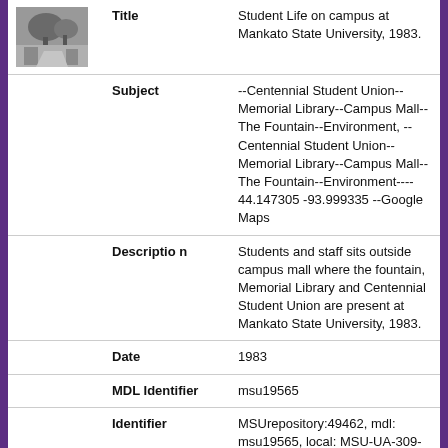[Figure (photo): Small black-and-white thumbnail photograph of campus scene, shown in top-left of the metadata table]
| Field | Value |
| --- | --- |
| Title | Student Life on campus at Mankato State University, 1983. |
| Subject | --Centennial Student Union--Memorial Library--Campus Mall--The Fountain--Environment, --Centennial Student Union--Memorial Library--Campus Mall--The Fountain--Environment---- 44.147305 -93.999335 --Google Maps |
| Description | Students and staff sits outside campus mall where the fountain, Memorial Library and Centennial Student Union are present at Mankato State University, 1983. |
| Date | 1983 |
| MDL Identifier | msu19565 |
| Identifier | MSUrepository:49462, mdl: msu19565, local: MSU-UA-309-19565 |